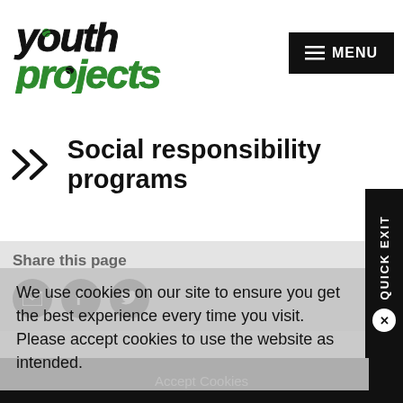[Figure (logo): Youth Projects logo with stylized italic bold text: 'youth' in black and 'projects' in green]
[Figure (other): MENU button with hamburger icon lines, black background, white text]
Social responsibility programs
Share this page
We use cookies on our site to ensure you get the best experience every time you visit. Please accept cookies to use the website as intended.
[Figure (other): QUICK EXIT vertical button on right side with X circle below]
Accept Cookies